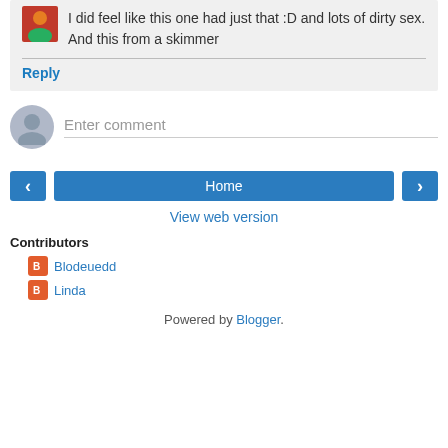I did feel like this one had just that :D and lots of dirty sex. And this from a skimmer
Reply
Enter comment
Home
View web version
Contributors
Blodeuedd
Linda
Powered by Blogger.